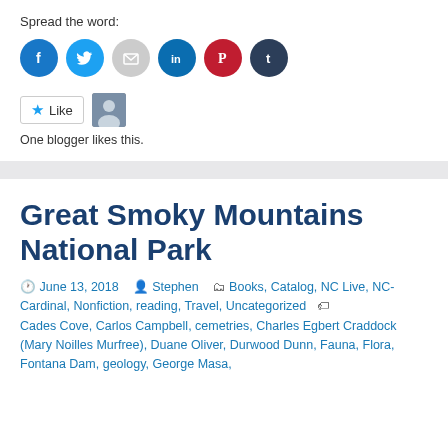Spread the word:
[Figure (infographic): Row of 6 social sharing icon buttons: Facebook (blue circle with f), Twitter (light blue circle with bird), Email (gray circle with envelope), LinkedIn (dark blue circle with in), Pinterest (red circle with P), Tumblr (dark navy circle with t)]
[Figure (infographic): Like button widget with star icon and 'Like' text, next to a small blogger avatar photo]
One blogger likes this.
Great Smoky Mountains National Park
June 13, 2018  Stephen  Books, Catalog, NC Live, NC-Cardinal, Nonfiction, reading, Travel, Uncategorized  Cades Cove, Carlos Campbell, cemetries, Charles Egbert Craddock (Mary Noilles Murfree), Duane Oliver, Durwood Dunn, Fauna, Flora, Fontana Dam, geology, George Masa,